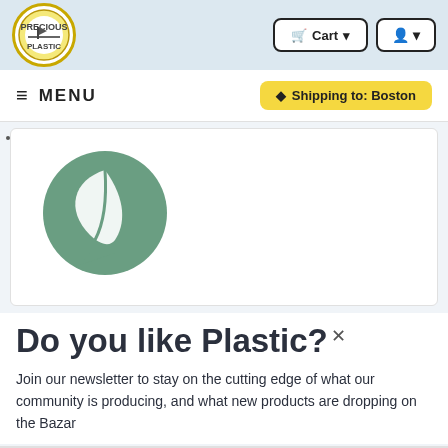[Figure (logo): Precious Plastic circular logo with yellow border, showing a flag icon inside]
Cart
☰ MENU
⬥ Shipping to: Boston
[Figure (logo): Green circular speech-bubble style logo with a white leaf/feather shape inside]
Do you like Plastic?
Join our newsletter to stay on the cutting edge of what our community is producing, and what new products are dropping on the Bazar